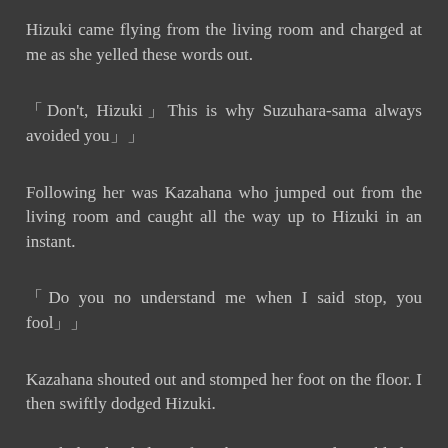Hizuki came flying from the living room and charged at me as she yelled these words out.
「Don't, Hizuki」This is why Suzuhara-sama always avoided you」」
Following her was Kazahana who jumped out from the living room and caught all the way up to Hizuki in an instant.
「Do you no understand me when I said stop, you fool」」
Kazahana shouted out and stomped her foot on the floor. I then swiftly dodged Hizuki.
Hizuki lost her balance from her attempts and stumbled